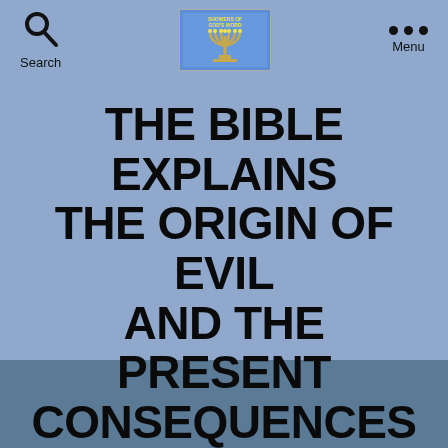Search | [Logo: Showers of God's Word] | Menu
THE BIBLE EXPLAINS THE ORIGIN OF EVIL AND THE PRESENT CONSEQUENCES